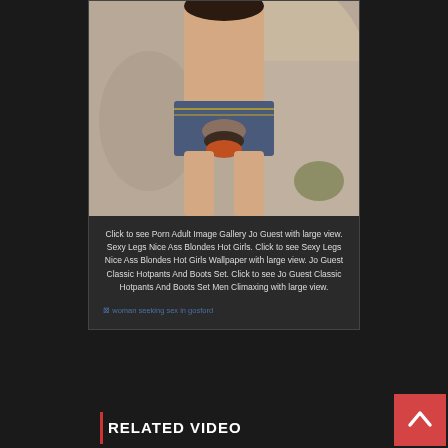[Figure (photo): Cropped photo of a woman in denim shorts and jewelry accessories, photographed outdoors against rocky background]
Click to see Porn Adult Image Gallery Jo Guest with large view. Sexy Legs Nice Ass Blondes Hot Girls. Click to see Sexy Legs Nice Ass Blondes Hot Girls Wallpaper with large view. Jo Guest Classic Hotpants And Boots Set. Click to see Jo Guest Classic Hotpants And Boots Set Men Climaxing with large view.
woman seeking sex in gosford
RELATED VIDEO